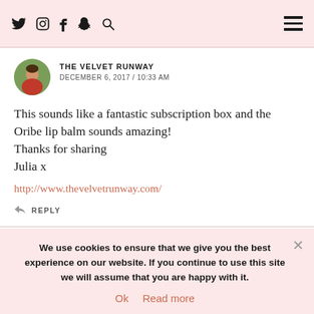Social icons: Twitter, Instagram, Facebook, Snapchat, Search | Hamburger menu
THE VELVET RUNWAY
DECEMBER 6, 2017 / 10:33 AM
This sounds like a fantastic subscription box and the Oribe lip balm sounds amazing!
Thanks for sharing
Julia x
http://www.thevelvetrunway.com/
REPLY
THE FASHION POLIC...
We use cookies to ensure that we give you the best experience on our website. If you continue to use this site we will assume that you are happy with it.
Ok  Read more